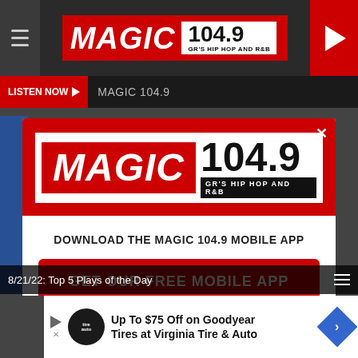[Figure (screenshot): Magic 104.9 radio station website screenshot with app download modal overlay. Top banner shows Magic 104.9 logo with red background and play button. Nav bar shows Listen Now button and MAGIC 104.9 text. Modal popup shows the Magic 104.9 logo, download prompt, GET OUR FREE MOBILE APP red button, and Also listen on: amazon alexa line. Bottom strip shows 8/21/22: Top 5 Plays of the Day. Ad banner at bottom shows Up To $75 Off on Goodyear Tires at Virginia Tire & Auto.]